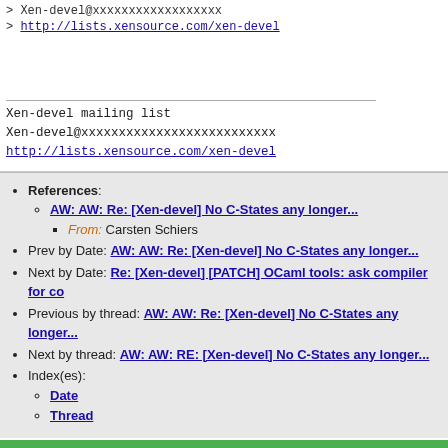> Xen-devel@xxxxxxxxxxxxxxxxxx
> http://lists.xensource.com/xen-devel
Xen-devel mailing list
Xen-devel@xxxxxxxxxxxxxxxxxxxxxxxxxx
http://lists.xensource.com/xen-devel
References: AW: AW: Re: [Xen-devel] No C-States any longer... From: Carsten Schiers
Prev by Date: AW: AW: Re: [Xen-devel] No C-States any longer...
Next by Date: Re: [Xen-devel] [PATCH] OCaml tools: ask compiler for co
Previous by thread: AW: AW: Re: [Xen-devel] No C-States any longer...
Next by thread: AW: AW: RE: [Xen-devel] No C-States any longer...
Index(es): Date Thread